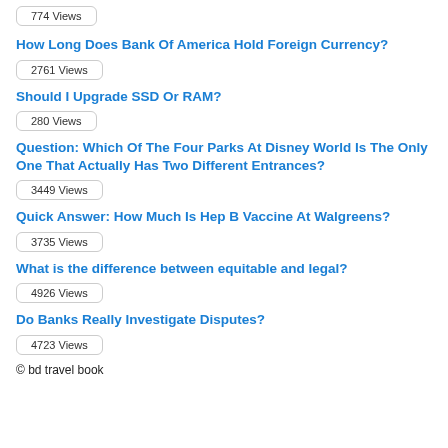774 Views
How Long Does Bank Of America Hold Foreign Currency?
2761 Views
Should I Upgrade SSD Or RAM?
280 Views
Question: Which Of The Four Parks At Disney World Is The Only One That Actually Has Two Different Entrances?
3449 Views
Quick Answer: How Much Is Hep B Vaccine At Walgreens?
3735 Views
What is the difference between equitable and legal?
4926 Views
Do Banks Really Investigate Disputes?
4723 Views
© bd travel book